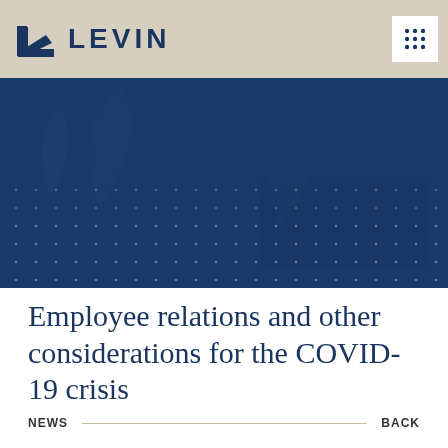[Figure (logo): Levin company logo with blue angular chevron/arrow icon and LEVIN text in dark blue on a tan/beige header bar]
[Figure (photo): Dark navy blue hero banner with a faint keyboard and leaves visible underneath, overlaid with a dot grid pattern]
Employee relations and other considerations for the COVID-19 crisis
NEWS    BACK